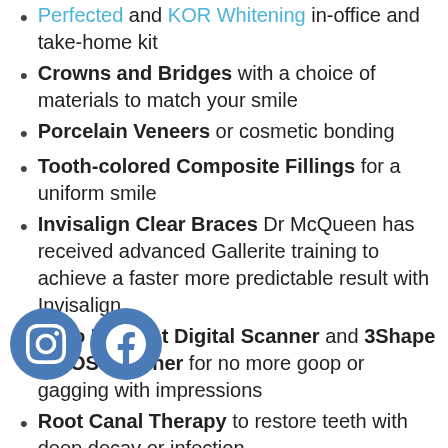Perfected and KOR Whitening in-office and take-home kit
Crowns and Bridges with a choice of materials to match your smile
Porcelain Veneers or cosmetic bonding
Tooth-colored Composite Fillings for a uniform smile
Invisalign Clear Braces Dr McQueen has received advanced Gallerite training to achieve a faster more predictable result with Invisalign
iTero Element Digital Scanner and 3Shape TRIOS Scanner for no more goop or gagging with impressions
Root Canal Therapy to restore teeth with deep decay or infection
Extractions including wisdom teeth